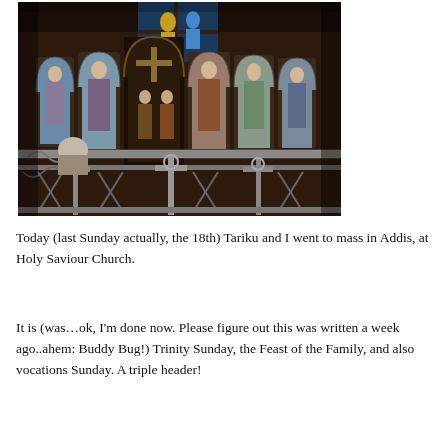[Figure (photo): Interior of Holy Saviour Church showing an ornate iconostasis with painted icons of saints in arched panels, decorative metalwork screen/fence in foreground with cross motifs, and stained glass window visible at top center.]
Today (last Sunday actually, the 18th) Tariku and I went to mass in Addis, at Holy Saviour Church.
It is (was…ok, I'm done now. Please figure out this was written a week ago..ahem: Buddy Bug!) Trinity Sunday, the Feast of the Family, and also vocations Sunday. A triple header!